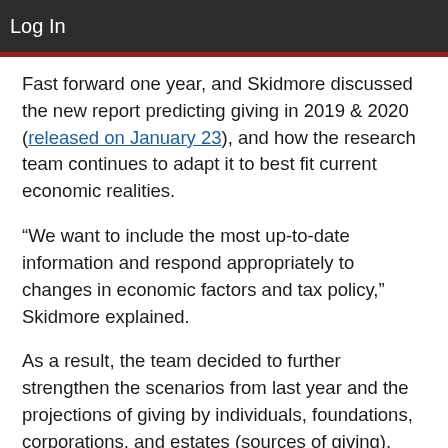Log In
Fast forward one year, and Skidmore discussed the new report predicting giving in 2019 & 2020 (released on January 23), and how the research team continues to adapt it to best fit current economic realities.
“We want to include the most up-to-date information and respond appropriately to changes in economic factors and tax policy,” Skidmore explained.
As a result, the team decided to further strengthen the scenarios from last year and the projections of giving by individuals, foundations, corporations, and estates (sources of giving), and giving to education, health, and public-society benefit organizations (recipients of giving). To do so, they formed a partnership with the